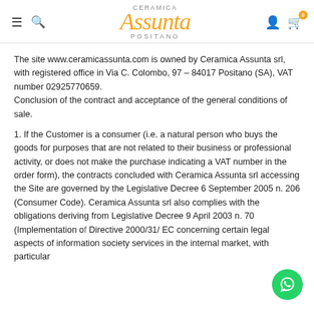Ceramica Assunta Positano
The site www.ceramicassunta.com is owned by Ceramica Assunta srl, with registered office in Via C. Colombo, 97 – 84017 Positano (SA), VAT number 02925770659.
Conclusion of the contract and acceptance of the general conditions of sale.
1. If the Customer is a consumer (i.e. a natural person who buys the goods for purposes that are not related to their business or professional activity, or does not make the purchase indicating a VAT number in the order form), the contracts concluded with Ceramica Assunta srl accessing the Site are governed by the Legislative Decree 6 September 2005 n. 206 (Consumer Code). Ceramica Assunta srl also complies with the obligations deriving from Legislative Decree 9 April 2003 n. 70 (Implementation of Directive 2000/31/ EC concerning certain legal aspects of information society services in the internal market, with particular